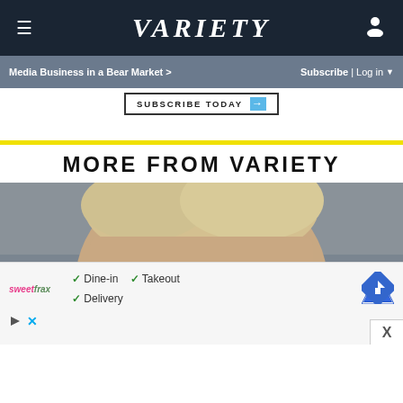Variety
Media Business in a Bear Market >
Subscribe | Log in
SUBSCRIBE TODAY →
MORE FROM VARIETY
[Figure (photo): Close-up photograph of a middle-aged or older man with tousled blonde/grey hair, wearing glasses, looking at the camera with a serious expression against a blurred background.]
✓ Dine-in  ✓ Takeout  ✓ Delivery